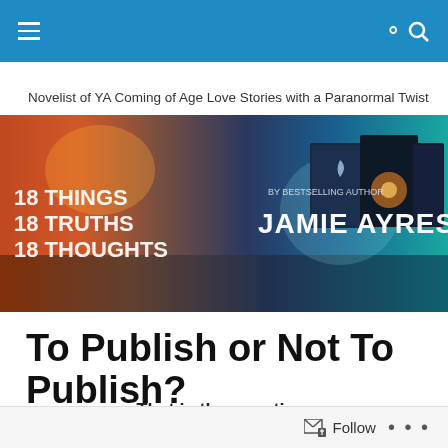Navigation bar with menu and search icons
Novelist of YA Coming of Age Love Stories with a Paranormal Twist
[Figure (illustration): Promotional banner for Jamie Ayres books: 18 Things, 18 Truths, 18 Thoughts. Shows three book covers against a dramatic sunset/space background. Text reads '18 THINGS 18 TRUTHS 18 THOUGHTS BY BESTSELLING AUTHOR JAMIE AYRES']
To Publish or Not To Publish?
That is the question.
Follow • • •